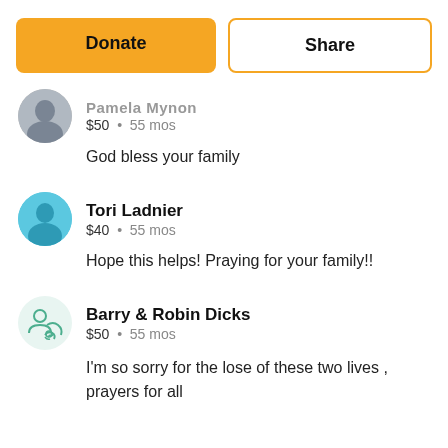Donate | Share
Pamela Mynon · $50 · 55 mos
God bless your family
Tori Ladnier · $40 · 55 mos
Hope this helps! Praying for your family!!
Barry & Robin Dicks · $50 · 55 mos
I'm so sorry for the lose of these two lives , prayers for all